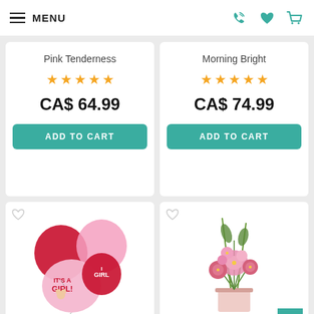MENU
Pink Tenderness
★★★★★
CA$ 64.99
ADD TO CART
Morning Bright
★★★★★
CA$ 74.99
ADD TO CART
[Figure (photo): Pink It's a Girl balloon bouquet with multiple balloons]
"It's a Girl" Balloon
[Figure (photo): Pink Wink flower arrangement in a vase with pink lilies, roses, and greenery]
Pink Wink